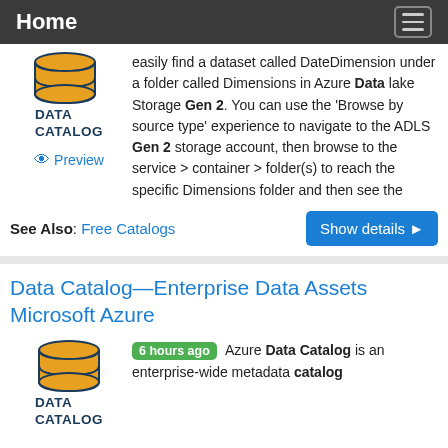Home
easily find a dataset called DateDimension under a folder called Dimensions in Azure Data lake Storage Gen 2. You can use the 'Browse by source type' experience to navigate to the ADLS Gen 2 storage account, then browse to the service > container > folder(s) to reach the specific Dimensions folder and then see the
See Also: Free Catalogs
Data Catalog—Enterprise Data Assets Microsoft Azure
6 hours ago  Azure Data Catalog is an enterprise-wide metadata catalog